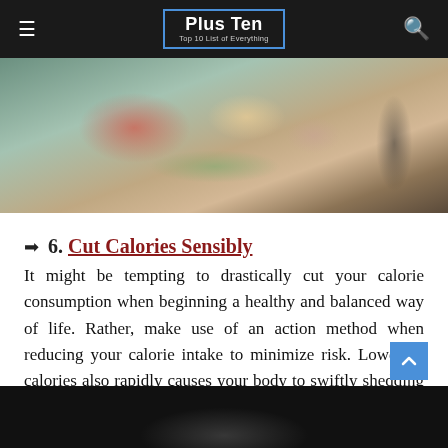Plus Ten — Top 10 List of Everything
[Figure (photo): Food photo showing a sandwich or open-faced bread with fried egg, tomato slices, lettuce, ham/meat on a wooden cutting board, with knives visible on the right side, placed on a rustic wooden table surface.]
➡ 6. Cut Calories Sensibly
It might be tempting to drastically cut your calorie consumption when beginning a healthy and balanced way of life. Rather, make use of an action method when reducing your calorie intake to minimize risk. Lowering calories also rapidly causes your body to swiftly shedding all available calories, which will certainly reduce your metabolic rate. In addition, you are most likely to preserve your healthy way of living through this stepping technique.
[Figure (photo): Bottom portion of a second food photo, dark/black background with faint subject visible at bottom edge.]